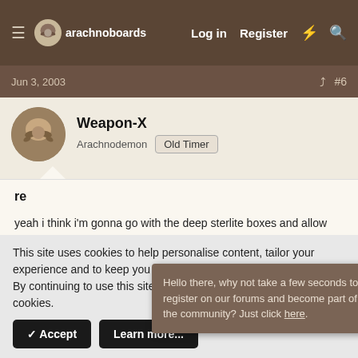arachnoboards  Log in  Register
Jun 3, 2003  #6
Weapon-X
Arachnodemon  Old Timer
re
yeah i think i'm gonna go with the deep sterlite boxes and allow them 9-10 of soil. I'll never see them but hey when do ever really, plus
Hello there, why not take a few seconds to register on our forums and become part of the community? Just click here.
Jun 3, 2003  #7
This site uses cookies to help personalise content, tailor your experience and to keep you logged in if you register.
By continuing to use this site, you are consenting to our use of cookies.
✓ Accept  Learn more...